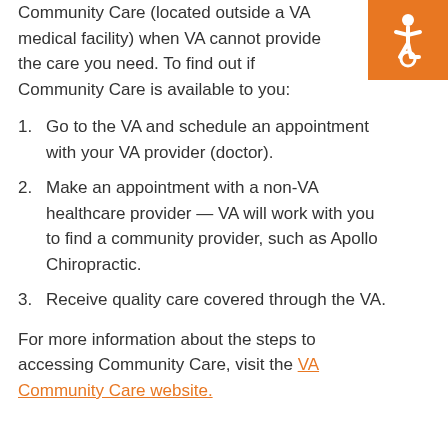Community Care (located outside a VA medical facility) when VA cannot provide the care you need. To find out if Community Care is available to you:
Go to the VA and schedule an appointment with your VA provider (doctor).
Make an appointment with a non-VA healthcare provider — VA will work with you to find a community provider, such as Apollo Chiropractic.
Receive quality care covered through the VA.
For more information about the steps to accessing Community Care, visit the VA Community Care website.
[Figure (illustration): Orange square with white wheelchair accessibility icon in top-right corner]